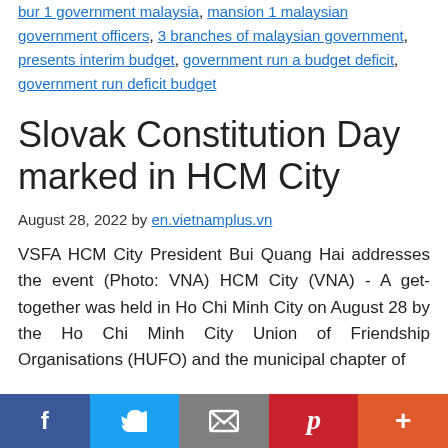bur 1 government malaysia, mansion 1 malaysian government officers, 3 branches of malaysian government, presents interim budget, government run a budget deficit, government run deficit budget
Slovak Constitution Day marked in HCM City
August 28, 2022 by en.vietnamplus.vn
VSFA HCM City President Bui Quang Hai addresses the event (Photo: VNA) HCM City (VNA) - A get-together was held in Ho Chi Minh City on August 28 by the Ho Chi Minh City Union of Friendship Organisations (HUFO) and the municipal chapter of
f  Twitter  Email  Pinterest  More